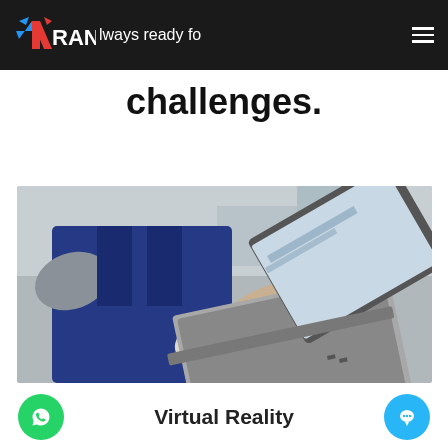VTrancis — Always ready for challenges.
Always ready for challenges.
[Figure (photo): A mechanic in blue overalls and white work gloves holding and using a laptop computer in an auto repair shop/garage environment.]
Virtual Reality